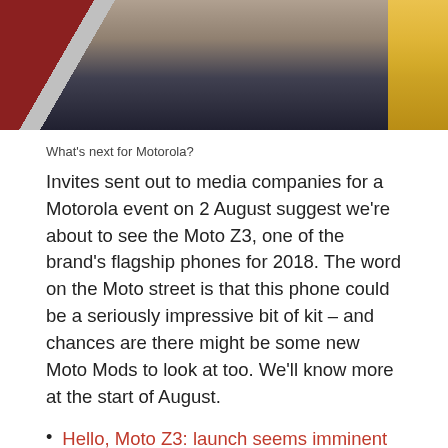[Figure (photo): Partial photo showing a hand holding a phone against a colorful background with red, grey, and yellow elements — cropped at top of page]
What's next for Motorola?
Invites sent out to media companies for a Motorola event on 2 August suggest we're about to see the Moto Z3, one of the brand's flagship phones for 2018. The word on the Moto street is that this phone could be a seriously impressive bit of kit – and chances are there might be some new Moto Mods to look at too. We'll know more at the start of August.
Hello, Moto Z3: launch seems imminent with event invites for August 2
3. Amazon turns its Fire HD